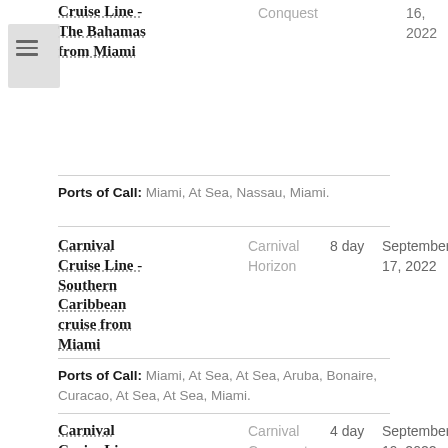Cruise Line - The Bahamas from Miami | Conquest | 16, 2022
Ports of Call: Miami, At Sea, Nassau, Miami.
Carnival Cruise Line - Southern Caribbean cruise from Miami | Carnival Horizon | 8 day | September 17, 2022
Ports of Call: Miami, At Sea, At Sea, Aruba, Bonaire, Curacao, At Sea, At Sea, Miami.
Carnival Cruise Line - The Bahamas | Carnival Conquest | 4 day | September 19, 2022